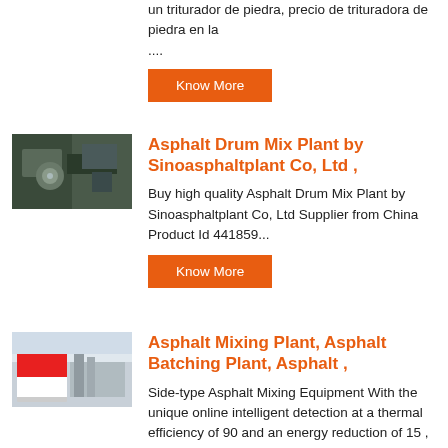un triturador de piedra, precio de trituradora de piedra en la ....
Know More
Asphalt Drum Mix Plant by Sinoasphaltplant Co, Ltd ,
Buy high quality Asphalt Drum Mix Plant by Sinoasphaltplant Co, Ltd Supplier from China Product Id 441859...
Know More
Asphalt Mixing Plant, Asphalt Batching Plant, Asphalt ,
Side-type Asphalt Mixing Equipment With the unique online intelligent detection at a thermal efficiency of 90 and an energy reduction of 15 , the burner independently developed by NFLG uses the double frequency conversion,